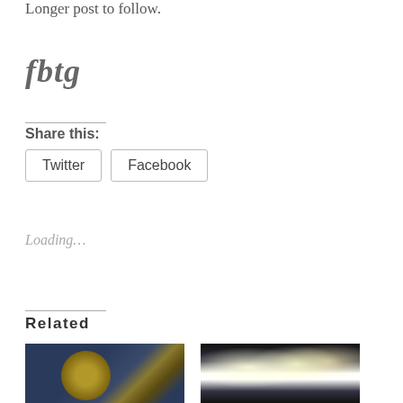Longer post to follow.
fbtg
Share this:
Twitter  Facebook
Loading…
Related
[Figure (photo): Photo of a person wearing a military-style uniform with a circular badge/patch showing an emblem]
[Figure (photo): Photo of a sports stadium or arena with bright floodlights illuminating the scene at night]